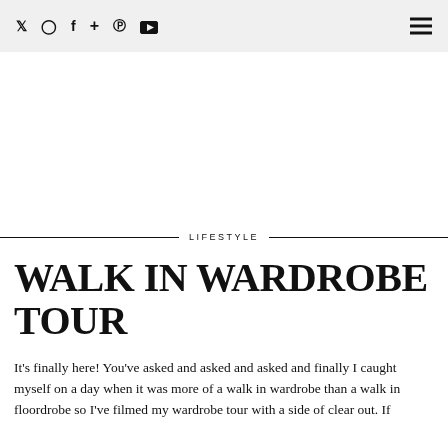Twitter Instagram Facebook Google+ Pinterest YouTube [menu]
LIFESTYLE
WALK IN WARDROBE TOUR
It's finally here! You've asked and asked and asked and finally I caught myself on a day when it was more of a walk in wardrobe than a walk in floordrobe so I've filmed my wardrobe tour with a side of clear out. If